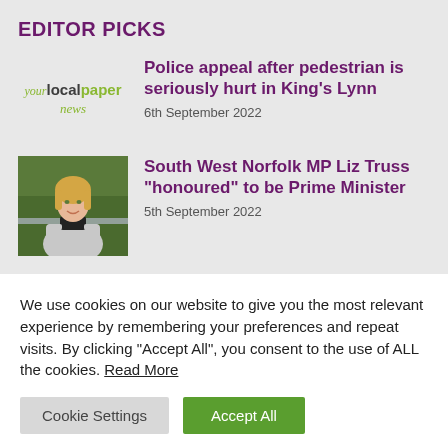EDITOR PICKS
[Figure (logo): yourlocalpaper news logo]
Police appeal after pedestrian is seriously hurt in King's Lynn
6th September 2022
[Figure (photo): Photo of Liz Truss, a blonde woman in a light-coloured coat, leaning on a railing outdoors]
South West Norfolk MP Liz Truss "honoured" to be Prime Minister
5th September 2022
We use cookies on our website to give you the most relevant experience by remembering your preferences and repeat visits. By clicking “Accept All”, you consent to the use of ALL the cookies. Read More
Cookie Settings
Accept All